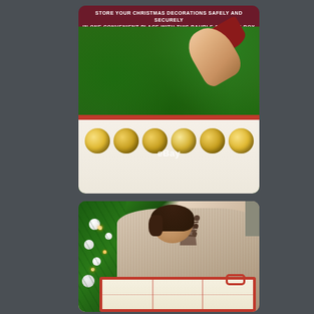[Figure (photo): Top composite image with dark red header text reading 'STORE YOUR CHRISTMAS DECORATIONS SAFELY AND SECURELY IN ONE CONVENIENT PLACE WITH THIS BAUBLE STORAGE BOX', showing a hand placing a gold ornament bauble onto a Christmas tree, with a red storage box containing multiple gold/glitter baubles below, with eBay watermark]
[Figure (photo): Bottom photo showing a woman with dark hair wearing a cream knitted lace-up sweater, standing next to a decorated Christmas tree with white ornaments, holding a red-bordered bauble storage box]